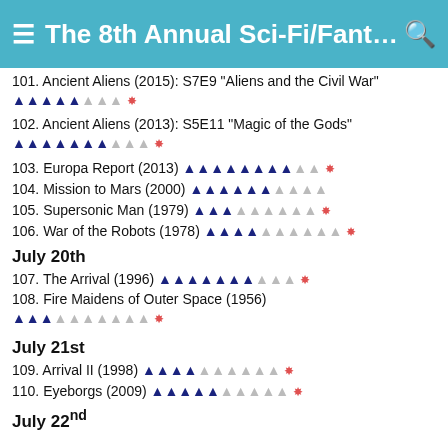The 8th Annual Sci-Fi/Fantasy C...
101. Ancient Aliens (2015): S7E9 "Aliens and the Civil War" ▲▲▲▲▲△△△ ✦
102. Ancient Aliens (2013): S5E11 "Magic of the Gods" ▲▲▲▲▲▲▲△△△ ✦
103. Europa Report (2013) ▲▲▲▲▲▲▲▲△△ ✦
104. Mission to Mars (2000) ▲▲▲▲▲▲△△△△
105. Supersonic Man (1979) ▲▲▲△△△△△△ ✦
106. War of the Robots (1978) ▲▲▲▲△△△△△△ ✦
July 20th
107. The Arrival (1996) ▲▲▲▲▲▲▲△△△ ✦
108. Fire Maidens of Outer Space (1956) ▲▲▲△△△△△△ ✦
July 21st
109. Arrival II (1998) ▲▲▲▲△△△△△△ ✦
110. Eyeborgs (2009) ▲▲▲▲▲△△△△△ ✦
July 22nd